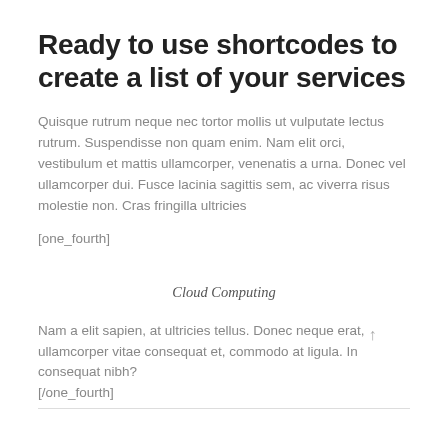Ready to use shortcodes to create a list of your services
Quisque rutrum neque nec tortor mollis ut vulputate lectus rutrum. Suspendisse non quam enim. Nam elit orci, vestibulum et mattis ullamcorper, venenatis a urna. Donec vel ullamcorper dui. Fusce lacinia sagittis sem, ac viverra risus molestie non. Cras fringilla ultricies
[one_fourth]
Cloud Computing
Nam a elit sapien, at ultricies tellus. Donec neque erat, ullamcorper vitae consequat et, commodo at ligula. In consequat nibh?
[/one_fourth]